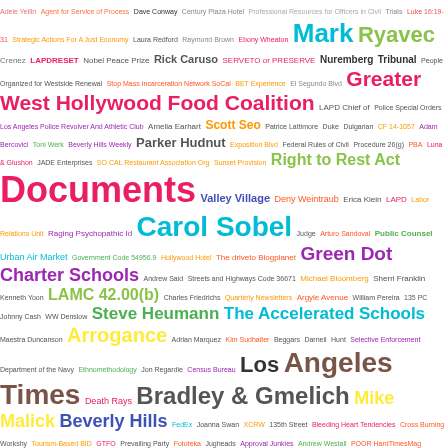[Figure (other): Word cloud / tag cloud featuring legal and Los Angeles-related terms in various colors and font sizes, including: Documents, Carol Sobel, Green Dot Charter Schools, LAMC 42.00(b), Los Angeles Times, Bradley & Gmelich, Greater West Hollywood Food Coalition, Right to Rest Act, The Accelerated Schools, Arrogance, Beverly Hills, Mike Malick, and many others.]